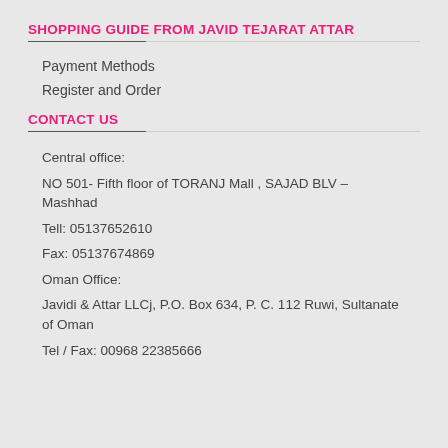SHOPPING GUIDE FROM JAVID TEJARAT ATTAR
Payment Methods
Register and Order
CONTACT US
Central office:
NO 501- Fifth floor of TORANJ Mall , SAJAD BLV – Mashhad
Tell: 05137652610
Fax: 05137674869
Oman Office:
Javidi & Attar LLCj, P.O. Box 634, P. C. 112 Ruwi, Sultanate of Oman
Tel / Fax: 00968 22385666